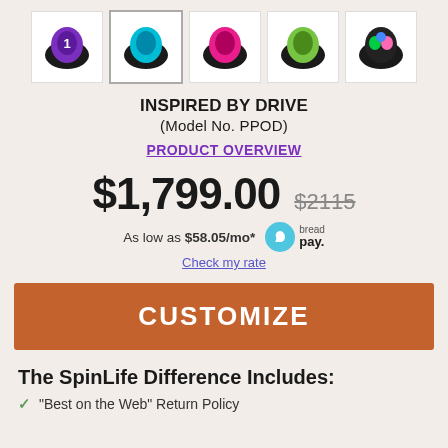[Figure (photo): Five product thumbnail images of PPOD wheelchair accessories in different colors: purple, blue, pink, green, and multi-color]
INSPIRED BY DRIVE
(Model No. PPOD)
PRODUCT OVERVIEW
$1,799.00  $2115
As low as $58.05/mo*
Check my rate
CUSTOMIZE
The SpinLife Difference Includes:
"Best on the Web" Return Policy